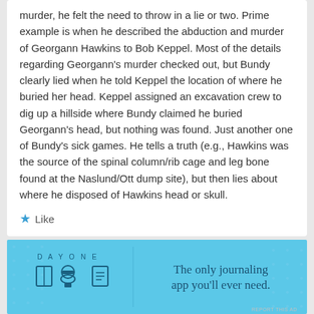murder, he felt the need to throw in a lie or two. Prime example is when he described the abduction and murder of Georgann Hawkins to Bob Keppel. Most of the details regarding Georgann's murder checked out, but Bundy clearly lied when he told Keppel the location of where he buried her head. Keppel assigned an excavation crew to dig up a hillside where Bundy claimed he buried Georgann's head, but nothing was found. Just another one of Bundy's sick games. He tells a truth (e.g., Hawkins was the source of the spinal column/rib cage and leg bone found at the Naslund/Ott dump site), but then lies about where he disposed of Hawkins head or skull.
Like
Advertisements
[Figure (infographic): Day One journaling app advertisement on a blue background with icons and text 'The only journaling app you'll ever need.']